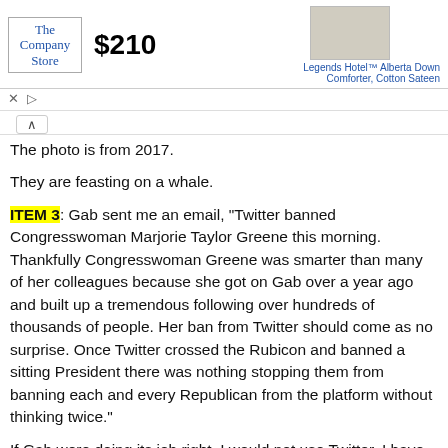[Figure (screenshot): Advertisement banner for The Company Store showing a down comforter product priced at $210. Product is 'Legends Hotel™ Alberta Down Comforter, Cotton Sateen'. Has close (x) and play (triangle) controls.]
The photo is from 2017.
They are feasting on a whale.
ITEM 3: Gab sent me an email, "Twitter banned Congresswoman Marjorie Taylor Greene this morning. Thankfully Congresswoman Greene was smarter than many of her colleagues because she got on Gab over a year ago and built up a tremendous following over hundreds of thousands of people. Her ban from Twitter should come as no surprise. Once Twitter crossed the Rubicon and banned a sitting President there was nothing stopping them from banning each and every Republican from the platform without thinking twice."
If Gab were doing its job right, I would not use Twitter. I have tried Gab over the years and have been disappointed every